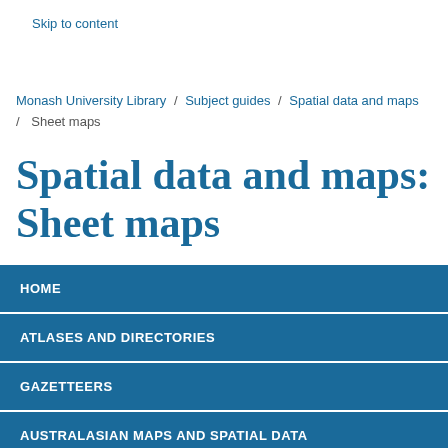Skip to content
Monash University Library / Subject guides / Spatial data and maps / Sheet maps
Spatial data and maps: Sheet maps
HOME
ATLASES AND DIRECTORIES
GAZETTEERS
AUSTRALASIAN MAPS AND SPATIAL DATA
INTERNATIONAL MAPS AND SPATIAL DATA